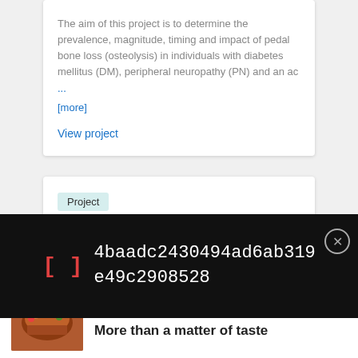The aim of this project is to determine the prevalence, magnitude, timing and impact of pedal bone loss (osteolysis) in individuals with diabetes mellitus (DM), peripheral neuropathy (PN) and an ac ... [more]
View project
Project
Association of Physical Capacity and Biomechanical
[Figure (other): Dark overlay bar showing a hash/ID string: 4baadc2430494ad6ab319e49c2908528 with bracket icon and close button]
[Figure (other): Advertisement strip for Thermo Fisher Scientific with food image and tagline 'More than a matter of taste']